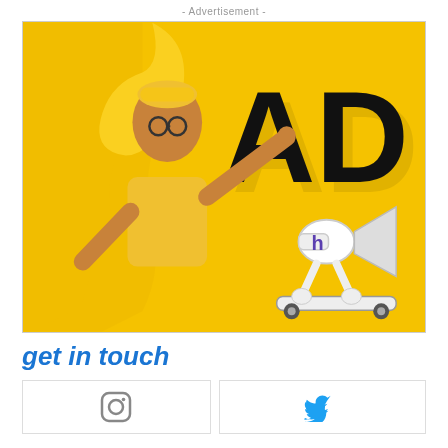- Advertisement -
[Figure (photo): Advertisement image: man in yellow t-shirt and hat bursting through yellow paper, pointing at large 'AD' text, with a cartoon megaphone mascot on a skateboard holding letter 'h']
get in touch
[Figure (other): Two social media icon boxes (Instagram and Twitter) partially visible at bottom]